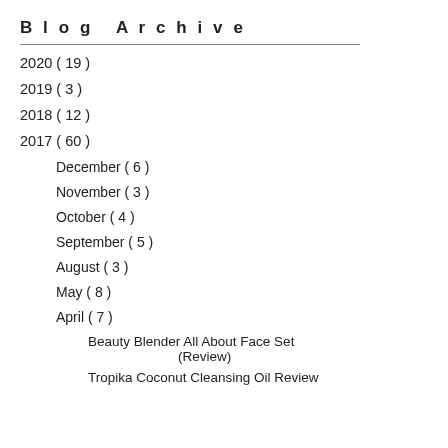Blog Archive
2020 ( 19 )
2019 ( 3 )
2018 ( 12 )
2017 ( 60 )
December ( 6 )
November ( 3 )
October ( 4 )
September ( 5 )
August ( 3 )
May ( 8 )
April ( 7 )
Beauty Blender All About Face Set (Review)
Tropika Coconut Cleansing Oil Review